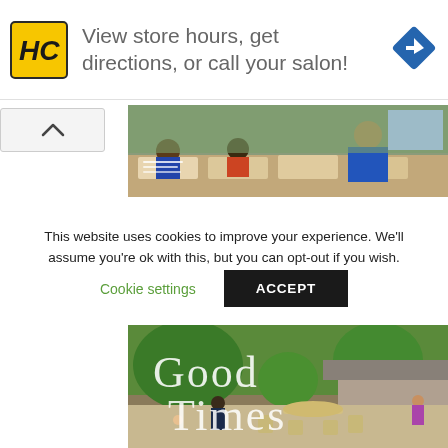[Figure (infographic): Advertisement banner: HC logo (yellow square with HC text), text 'View store hours, get directions, or call your salon!', and a blue navigation/directions diamond icon on the right.]
[Figure (photo): Classroom scene showing students at desks with a teacher in a blue top. Partial/cropped image strip.]
This website uses cookies to improve your experience. We'll assume you're ok with this, but you can opt-out if you wish.
Cookie settings   ACCEPT
[Figure (photo): Outdoor patio/garden scene with people relaxing around furniture and tables, with trees and a house in the background. White text overlay reads 'Good Times'.]